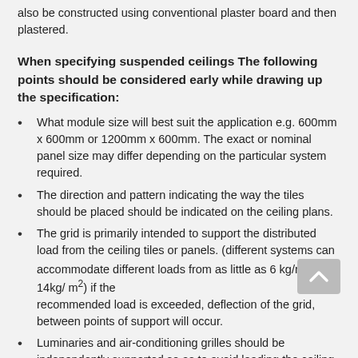also be constructed using conventional plaster board and then plastered.
When specifying suspended ceilings The following points should be considered early while drawing up the specification:
What module size will best suit the application e.g. 600mm x 600mm or 1200mm x 600mm. The exact or nominal panel size may differ depending on the particular system required.
The direction and pattern indicating the way the tiles should be placed should be indicated on the ceiling plans.
The grid is primarily intended to support the distributed load from the ceiling tiles or panels. (different systems can accommodate different loads from as little as 6 kg/m² up 14kg/ m²) if the recommended load is exceeded, deflection of the grid, between points of support will occur.
Luminaries and air-conditioning grilles should be independently supported so as to avoid loading the ceiling